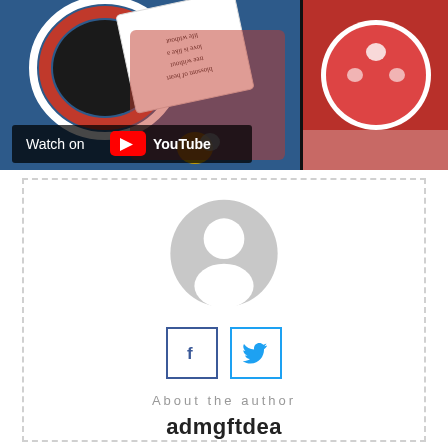[Figure (screenshot): YouTube video thumbnail showing a craft project with paper heart cards on a blue background. A 'Watch on YouTube' overlay is visible at bottom left. A second panel on the right shows a close-up of a red circular craft with hearts.]
[Figure (illustration): Default grey user avatar placeholder icon — circular silhouette with head and shoulders.]
[Figure (logo): Facebook 'f' social media icon button with blue border.]
[Figure (logo): Twitter bird social media icon button with light blue border.]
About the author
admgftdea